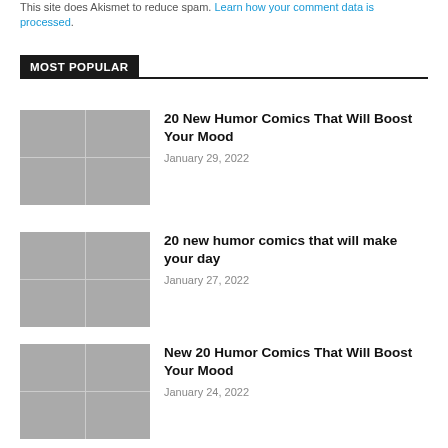This site uses Akismet to reduce spam. Learn how your comment data is processed.
MOST POPULAR
20 New Humor Comics That Will Boost Your Mood
January 29, 2022
20 new humor comics that will make your day
January 27, 2022
New 20 Humor Comics That Will Boost Your Mood
January 24, 2022